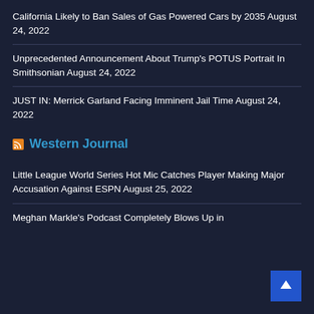California Likely to Ban Sales of Gas Powered Cars by 2035 August 24, 2022
Unprecedented Announcement About Trump's POTUS Portrait In Smithsonian August 24, 2022
JUST IN: Merrick Garland Facing Imminent Jail Time August 24, 2022
Western Journal
Little League World Series Hot Mic Catches Player Making Major Accusation Against ESPN August 25, 2022
Meghan Markle's Podcast Completely Blows Up in